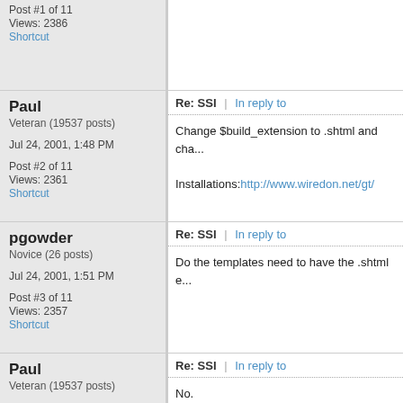Post #1 of 11
Views: 2386
Shortcut
Paul
Veteran (19537 posts)
Jul 24, 2001, 1:48 PM
Post #2 of 11
Views: 2361
Shortcut
Re: SSI | In reply to
Change $build_extension to .shtml and cha...
Installations: http://www.wiredon.net/gt/
pgowder
Novice (26 posts)
Jul 24, 2001, 1:51 PM
Post #3 of 11
Views: 2357
Shortcut
Re: SSI | In reply to
Do the templates need to have the .shtml e...
Paul
Veteran (19537 posts)
Jul 24, 2001, 1:53 PM
Re: SSI | In reply to
No.
Installations: http://www.wiredon.net/gt/